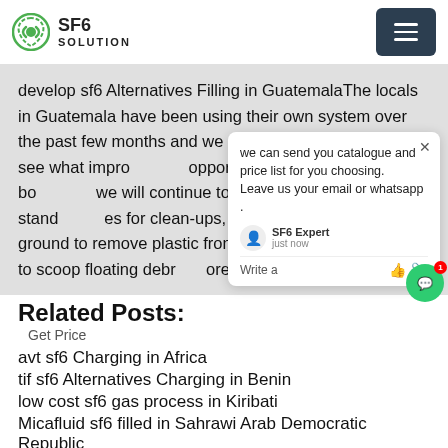SF6 SOLUTION
develop sf6 Alternatives Filling in GuatemalaThe locals in Guatemala have been using their own system over the past few months and we are excited to partner to see what improvement opportunities exist. In addition to both, we will continue to implement our standards for clean-ups, which includes having ground to remove plastic from the, well as using nets to scoop floating debris more.
we can send you catalogue and price list for you choosing.
Leave us your email or whatsapp .
SF6 Expert   just now
Write a
Related Posts:
Get Price
avt sf6 Charging in Africa
tif sf6 Alternatives Charging in Benin
low cost sf6 gas process in Kiribati
Micafluid sf6 filled in Sahrawi Arab Democratic Republic
fluke Insulated gas control in Estonia